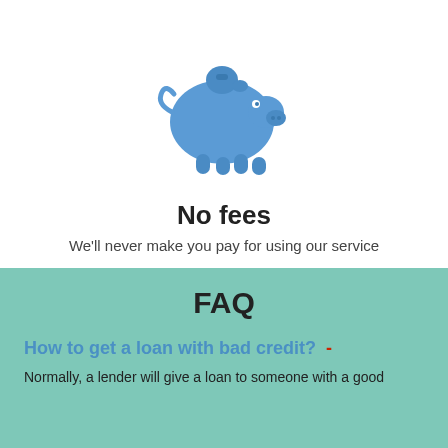[Figure (illustration): Blue piggy bank icon with a coin slot on top]
No fees
We'll never make you pay for using our service
FAQ
How to get a loan with bad credit?  -
Normally, a lender will give a loan to someone with a good